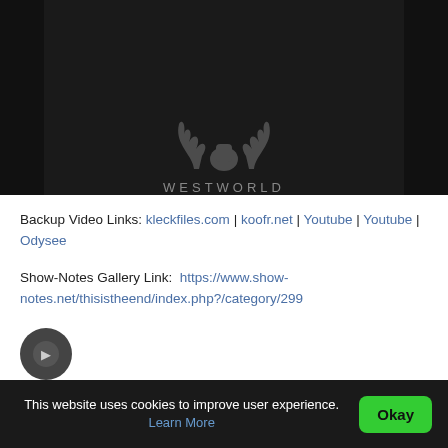[Figure (screenshot): Dark video thumbnail showing Westworld logo with antlers graphic and text 'WESTWORLD' on dark background with sidebars]
Backup Video Links: kleckfiles.com | koofr.net | Youtube | Youtube | Odysee
Show-Notes Gallery Link: https://www.show-notes.net/thisistheend/index.php?/category/299
This website uses cookies to improve user experience. Learn More  Okay